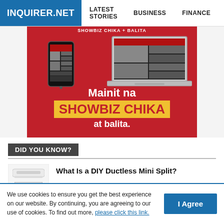INQUIRER.NET | LATEST STORIES | BUSINESS | FINANCE | TECHNOLO
[Figure (illustration): Advertisement banner for a showbiz news website showing devices displaying the site, with text 'Mainit na SHOWBIZ CHIKA at balita.' on a red background with yellow highlight.]
DID YOU KNOW?
[Figure (photo): Thumbnail image of a ductless mini split air conditioning unit (indoor wall unit on top, outdoor compressor unit on bottom).]
What Is a DIY Ductless Mini Split?
We use cookies to ensure you get the best experience on our website. By continuing, you are agreeing to our use of cookies. To find out more, please click this link.